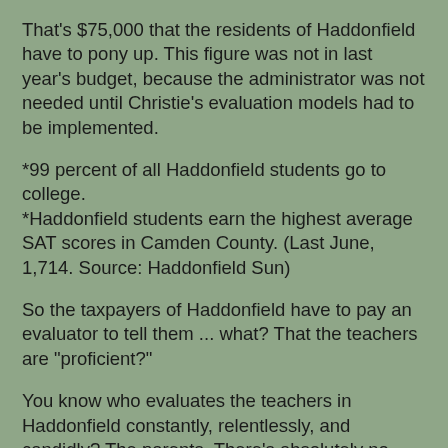That's $75,000 that the residents of Haddonfield have to pony up. This figure was not in last year's budget, because the administrator was not needed until Christie's evaluation models had to be implemented.
*99 percent of all Haddonfield students go to college. *Haddonfield students earn the highest average SAT scores in Camden County. (Last June, 1,714. Source: Haddonfield Sun)
So the taxpayers of Haddonfield have to pay an evaluator to tell them ... what? That the teachers are "proficient?"
You know who evaluates the teachers in Haddonfield constantly, relentlessly, and candidly? The parents. There's absolutely no need for a $75,000 bozo in a tie (or heels). Nevertheless, the citizens of Haddonfield must pay this person, and the person must evaluate Haddonfield's teachers the way Christie wants it -- four times a year, twice formally and twice informally.
For those of you in other states, let me just add that all New